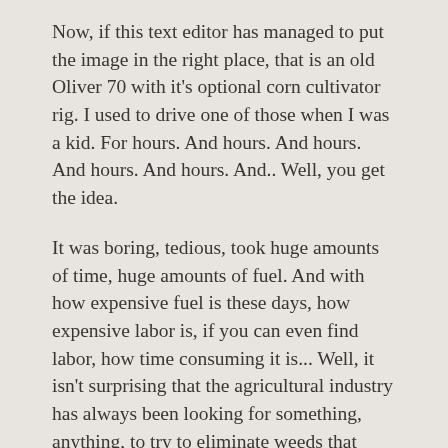Now, if this text editor has managed to put the image in the right place, that is an old Oliver 70 with it's optional corn cultivator rig. I used to drive one of those when I was a kid. For hours. And hours. And hours. And hours. And hours. And.. Well, you get the idea.
It was boring, tedious, took huge amounts of time, huge amounts of fuel. And with how expensive fuel is these days, how expensive labor is, if you can even find labor, how time consuming it is... Well, it isn't surprising that the agricultural industry has always been looking for something, anything, to try to eliminate weeds that doesn't involve so much time, labor and expense.